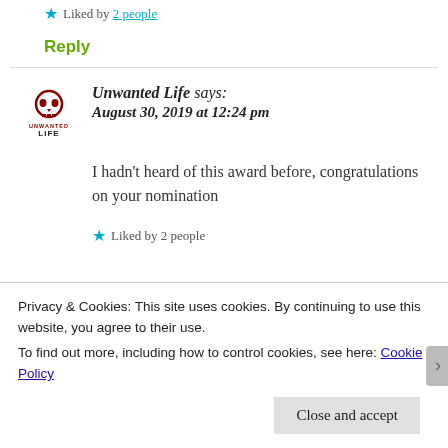★ Liked by 2 people
Reply
Unwanted Life says: August 30, 2019 at 12:24 pm
I hadn't heard of this award before, congratulations on your nomination
★ Liked by 2 people
Privacy & Cookies: This site uses cookies. By continuing to use this website, you agree to their use.
To find out more, including how to control cookies, see here: Cookie Policy
Close and accept